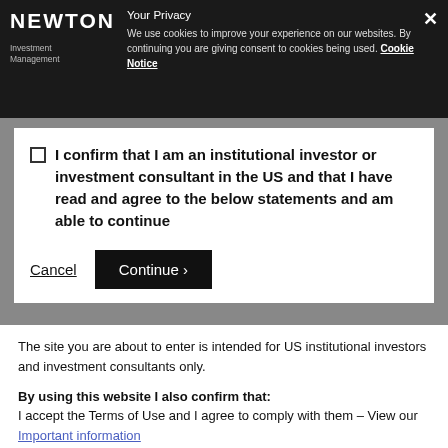Your Privacy — We use cookies to improve your experience on our websites. By continuing you are giving consent to cookies being used. Cookie Notice
I confirm that I am an institutional investor or investment consultant in the US and that I have read and agree to the below statements and am able to continue
Cancel  Continue ›
The site you are about to enter is intended for US institutional investors and investment consultants only.
By using this website I also confirm that: I accept the Terms of Use and I agree to comply with them – View our Important information